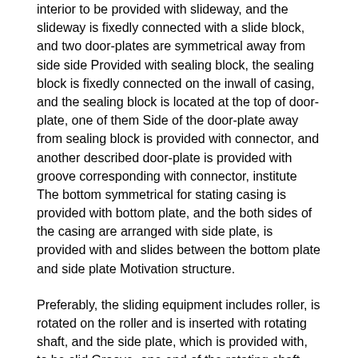interior to be provided with slideway, and the slideway is fixedly connected with a slide block, and two door-plates are symmetrical away from side side Provided with sealing block, the sealing block is fixedly connected on the inwall of casing, and the sealing block is located at the top of door-plate, one of them Side of the door-plate away from sealing block is provided with connector, and another described door-plate is provided with groove corresponding with connector, institute The bottom symmetrical for stating casing is provided with bottom plate, and the both sides of the casing are arranged with side plate, is provided with and slides between the bottom plate and side plate Motivation structure.
Preferably, the sliding equipment includes roller, is rotated on the roller and is inserted with rotating shaft, and the side plate, which is provided with, to be slid Groove, one end of the rotating shaft are plugged on chute, and the chute is provided with fold mechanism, and the rotating shaft other end is provided with spring Groove, spring shaft is inserted with the spring groove, the one end of the spring shaft away from rotating shaft is connected on bottom plate, on the spring groove Provided with second spring,